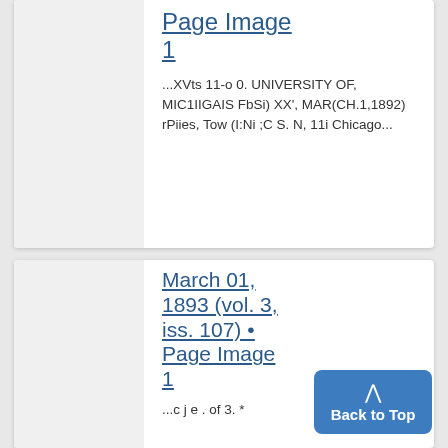Page Image 1
...XVts 11-o 0. UNIVERSITY OF, MIC1IIGAIS FbSi) XX', MAR(CH.1,1892) rPiies, Tow (I:Ni ;C S. N, 11i Chicago...
March 01, 1893 (vol. 3, iss. 107) • Page Image 1
...c j e . of 3. *